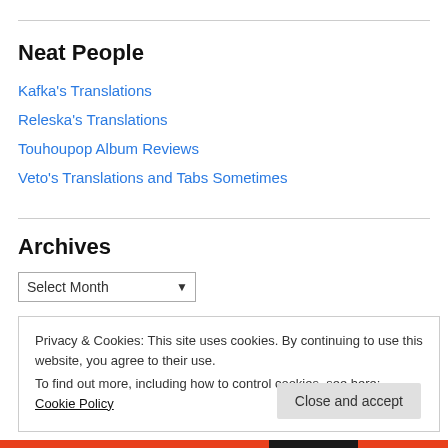Neat People
Kafka's Translations
Releska's Translations
Touhoupop Album Reviews
Veto's Translations and Tabs Sometimes
Archives
Select Month
Privacy & Cookies: This site uses cookies. By continuing to use this website, you agree to their use.
To find out more, including how to control cookies, see here: Cookie Policy
Close and accept